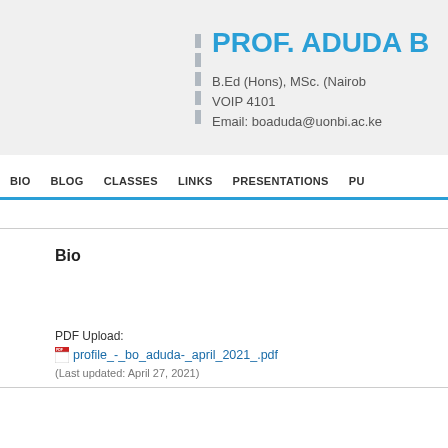PROF. ADUDA B
B.Ed (Hons), MSc. (Nairobi)
VOIP 4101
Email: boaduda@uonbi.ac.ke
BIO | BLOG | CLASSES | LINKS | PRESENTATIONS | PU...
Bio
PDF Upload:
profile_-_bo_aduda-_april_2021_.pdf
(Last updated: April 27, 2021)